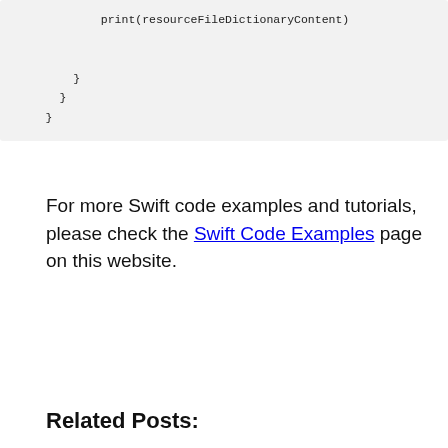[Figure (other): Code block showing Swift closing braces: print(resourceFileDictionaryContent) followed by closing braces]
For more Swift code examples and tutorials, please check the Swift Code Examples page on this website.
Related Posts: